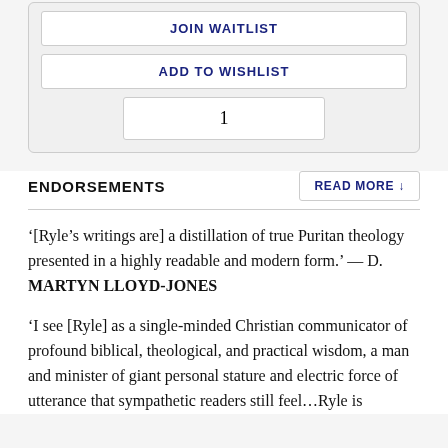JOIN WAITLIST
ADD TO WISHLIST
1
ENDORSEMENTS
READ MORE ↓
'[Ryle’s writings are] a distillation of true Puritan theology presented in a highly readable and modern form.' — D. MARTYN LLOYD-JONES
‘I see [Ryle] as a single-minded Christian communicator of profound biblical, theological, and practical wisdom, a man and minister of giant personal stature and electric force of utterance that sympathetic readers still feel…Ryle is